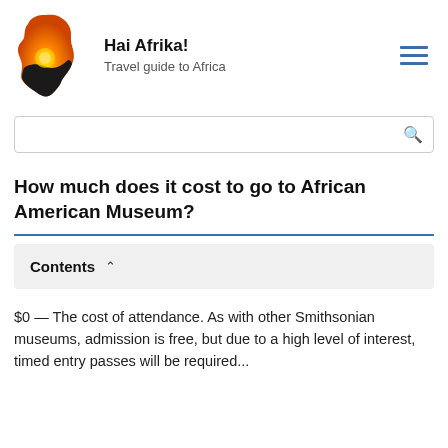Hai Afrika! Travel guide to Africa
How much does it cost to go to African American Museum?
Contents
$0 — The cost of attendance. As with other Smithsonian museums, admission is free, but due to a high level of interest, timed entry passes will be required...